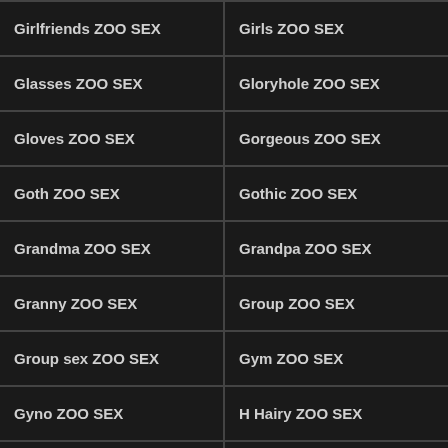Girlfriends ZOO SEX
Girls ZOO SEX
Glasses ZOO SEX
Gloryhole ZOO SEX
Gloves ZOO SEX
Gorgeous ZOO SEX
Goth ZOO SEX
Gothic ZOO SEX
Grandma ZOO SEX
Grandpa ZOO SEX
Granny ZOO SEX
Group ZOO SEX
Group sex ZOO SEX
Gym ZOO SEX
Gyno ZOO SEX
H Hairy ZOO SEX
Handjob ZOO SEX
Hard ZOO SEX
Hardcore ZOO SEX
Hat ZOO SEX